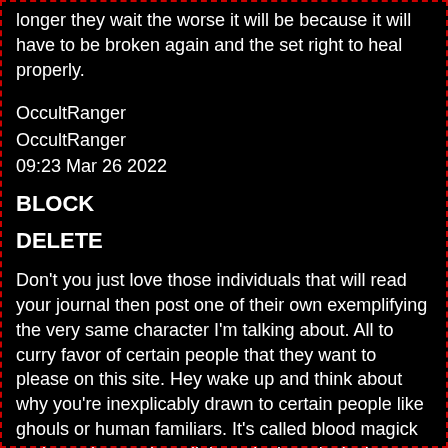longer they wait the worse it will be because it will have to be broken again and the set right to heal properly.
OccultRanger
OccultRanger
09:23 Mar 26 2022
BLOCK
DELETE
Don't you just love those individuals that will read your journal then post one of their own exemplifying the very same character I'm talking about. All to curry favor of certain people that they want to please on this site. Hey wake up and think about why you're inexplicably drawn to certain people like ghouls or human familiars. It's called blood magick and certain popular religions don't exclusively own thr right to those rites. It's a vampire thing too. It's how the glamour works sheeple. I'd like to snap my fingers in their face to try and wake them up so they see what they're doing. But they're usually the types that don't want to see anymore and are addicted to the sleep mode than facing reality. Lot's of abuse of blood magick